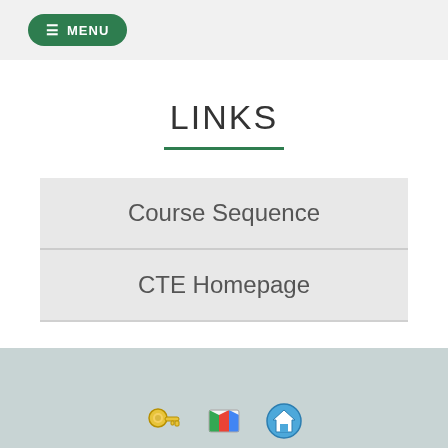☰ MENU
LINKS
Course Sequence
CTE Homepage
[Figure (illustration): Footer area with three small icons: a key icon, a Google Maps-style map icon, and a house/home icon, on a muted teal-gray background.]